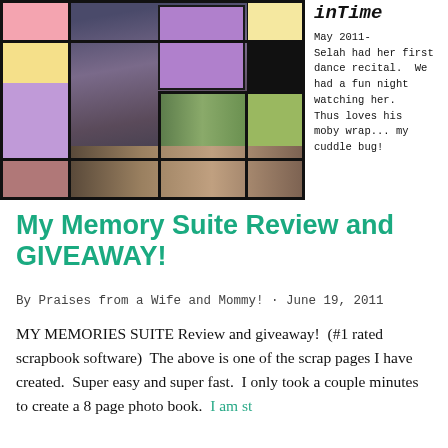[Figure (photo): Scrapbook page created with My Memories Suite software showing family photos arranged with colorful blocks in pink, yellow, purple, mauve, and green. Photos show a family group at a dance recital and a woman smiling outdoors.]
inTime
May 2011-
Selah had her first dance recital. We had a fun night watching her. Thus loves his moby wrap... my cuddle bug!
My Memory Suite Review and GIVEAWAY!
By Praises from a Wife and Mommy! · June 19, 2011
MY MEMORIES SUITE Review and giveaway! (#1 rated scrapbook software) The above is one of the scrap pages I have created. Super easy and super fast. I only took a couple minutes to create a 8 page photo book. I am st...